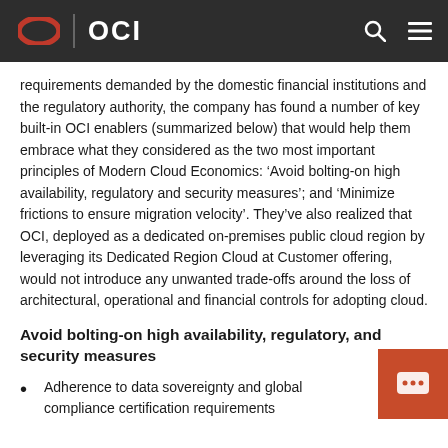OCI
requirements demanded by the domestic financial institutions and the regulatory authority, the company has found a number of key built-in OCI enablers (summarized below) that would help them embrace what they considered as the two most important principles of Modern Cloud Economics: ‘Avoid bolting-on high availability, regulatory and security measures’; and ‘Minimize frictions to ensure migration velocity’. They’ve also realized that OCI, deployed as a dedicated on-premises public cloud region by leveraging its Dedicated Region Cloud at Customer offering, would not introduce any unwanted trade-offs around the loss of architectural, operational and financial controls for adopting cloud.
Avoid bolting-on high availability, regulatory, and security measures
Adherence to data sovereignty and global compliance certification requirements